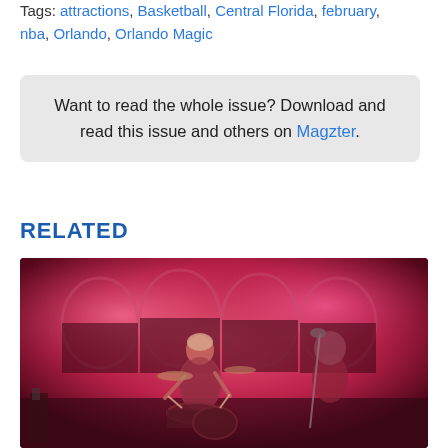Tags: attractions, Basketball, Central Florida, february, nba, Orlando, Orlando Magic
Want to read the whole issue? Download and read this issue and others on Magzter.
RELATED
[Figure (photo): A concert photo showing a drummer playing on stage under dramatic pink/red stage lighting. A second musician is visible in the background also playing. The scene has a dark, moody atmosphere with bright pink-red light illuminating the performers and the decorative arch backdrop.]